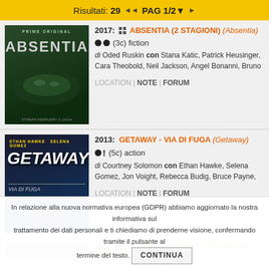Risultati: 29  ◄◄  PAG 1/2  ▼  ►
2017: ABSENTIA (2 STAGIONI) (Absentia) ●● (3c) fiction di Oded Ruskin con Stana Katic, Patrick Heusinger, Cara Theobold, Neil Jackson, Angel Bonanni, Bruno  LOCATION | NOTE | FORUM
2013: GETAWAY - VIA DI FUGA (Getaway) ●! (5c) action di Courtney Solomon con Ethan Hawke, Selena Gomez, Jon Voight, Rebecca Budig, Bruce Payne,  LOCATION | NOTE | FORUM
2013: LA BIBBIA - DIO NELLA STORIA (10 EPISODI)
In relazione alla nuova normativa europea (GDPR) abbiamo aggiornato la nostra informativa sul trattamento dei dati personali e ti chiediamo di prenderne visione, confermando tramite il pulsante al termine del testo.  CONTINUA